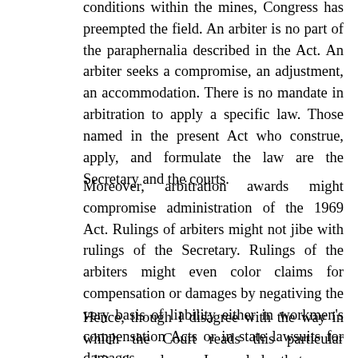conditions within the mines, Congress has preempted the field. An arbiter is no part of the paraphernalia described in the Act. An arbiter seeks a compromise, an adjustment, an accommodation. There is no mandate in arbitration to apply a specific law. Those named in the present Act who construe, apply, and formulate the law are the Secretary and the courts.
Moreover, arbitration awards might compromise administration of the 1969 Act. Rulings of arbiters might not jibe with rulings of the Secretary. Rulings of the arbiters might even color claims for compensation or damages by negativing the very basis of liability either in workmen's compensation Acts or in state lawsuits for damages.
Hence, though I disagree with the way in which the Court reads this particular arbitration clause, I conclude that, even though the collective bargaining agreement is